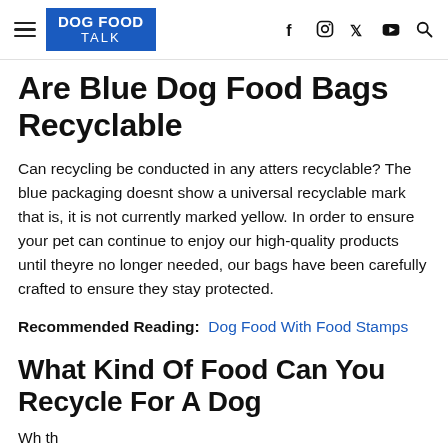DOG FOOD TALK
Are Blue Dog Food Bags Recyclable
Can recycling be conducted in any atters recyclable? The blue packaging doesnt show a universal recyclable mark that is, it is not currently marked yellow. In order to ensure your pet can continue to enjoy our high-quality products until theyre no longer needed, our bags have been carefully crafted to ensure they stay protected.
Recommended Reading:  Dog Food With Food Stamps
What Kind Of Food Can You Recycle For A Dog
Wh th...